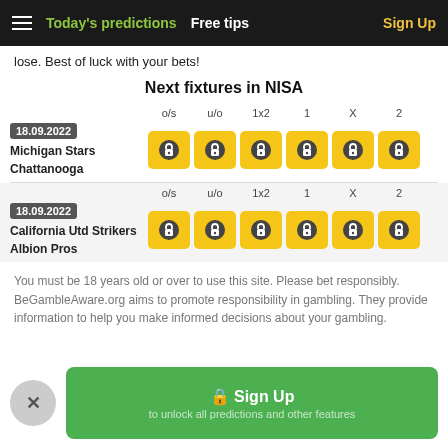Today's predictions  Free tips  Sign Up
lose. Best of luck with your bets!
Next fixtures in NISA
|  | o/s | u/o | 1x2 | 1 | X | 2 |
| --- | --- | --- | --- | --- | --- | --- |
| 18.09.2022 Michigan Stars Chattanooga | 🔒 | 🔒 | 🔒 | 🔒 | 🔒 | 🔒 |
| 18.09.2022 California Utd Strikers Albion Pros | 🔒 | 🔒 | 🔒 | 🔒 | 🔒 | 🔒 |
You must be 18 years old or over to use this site. Please bet responsibly.
BeGambleAware.org aims to promote responsibility in gambling. They provide information to help you make informed decisions about your gambling.
🔒 Sign Up
to unlock all predictions and other features